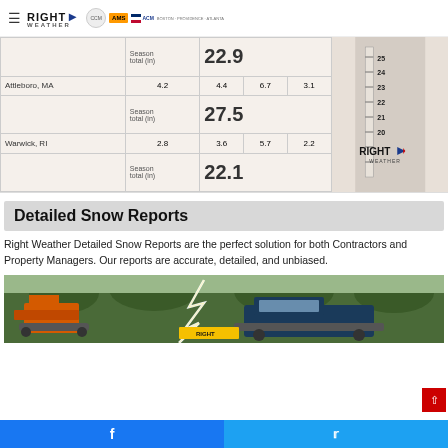RIGHT WEATHER — with partner logos: CCM, AMS, ACM
[Figure (table-as-image): Snow accumulation table showing Attleboro MA (4.2, 4.4, 6.7, 3.1, Season total 27.5 in) and Warwick RI (2.8, 3.6, 5.7, 2.2, Season total 22.1 in) with a seasonal total of 22.9 in at top, alongside a ruler graphic and Right Weather logo]
Detailed Snow Reports
Right Weather Detailed Snow Reports are the perfect solution for both Contractors and Property Managers. Our reports are accurate, detailed, and unbiased.
[Figure (photo): Outdoor scene with construction equipment (orange excavator/skid steer) and a dark pickup truck, with trees in background and lightning overlay effect]
Facebook share button | Twitter share button